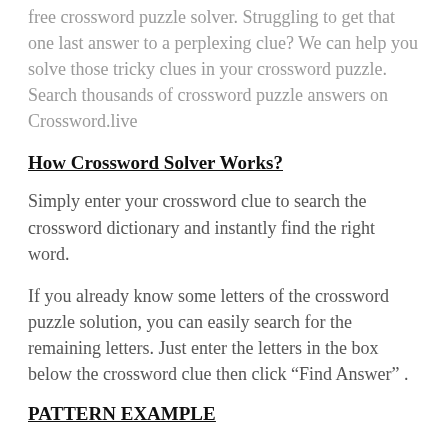free crossword puzzle solver. Struggling to get that one last answer to a perplexing clue? We can help you solve those tricky clues in your crossword puzzle. Search thousands of crossword puzzle answers on Crossword.live
How Crossword Solver Works?
Simply enter your crossword clue to search the crossword dictionary and instantly find the right word.
If you already know some letters of the crossword puzzle solution, you can easily search for the remaining letters. Just enter the letters in the box below the crossword clue then click “Find Answer” .
PATTERN EXAMPLE
???? : answer is 4 letters, no letters are known.
???